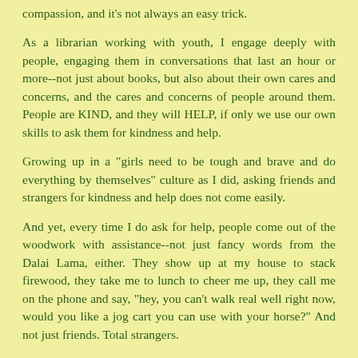compassion, and it's not always an easy trick.
As a librarian working with youth, I engage deeply with people, engaging them in conversations that last an hour or more--not just about books, but also about their own cares and concerns, and the cares and concerns of people around them. People are KIND, and they will HELP, if only we use our own skills to ask them for kindness and help.
Growing up in a "girls need to be tough and brave and do everything by themselves" culture as I did, asking friends and strangers for kindness and help does not come easily.
And yet, every time I do ask for help, people come out of the woodwork with assistance--not just fancy words from the Dalai Lama, either. They show up at my house to stack firewood, they take me to lunch to cheer me up, they call me on the phone and say, "hey, you can't walk real well right now, would you like a jog cart you can use with your horse?" And not just friends. Total strangers.
So here's the challenge: to look for ways to engage people so that